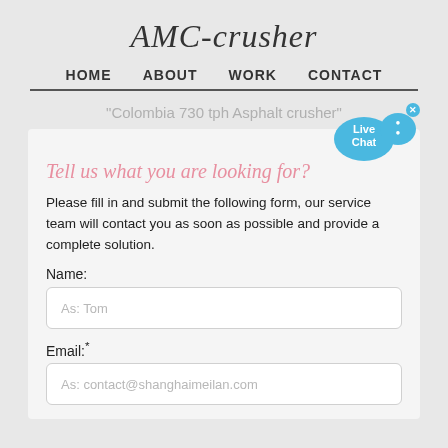AMC-crusher
HOME   ABOUT   WORK   CONTACT
"Colombia 730 tph Asphalt crusher"
Tell us what you are looking for?
Please fill in and submit the following form, our service team will contact you as soon as possible and provide a complete solution.
Name:
As: Tom
Email:*
As: contact@shanghaimeilan.com